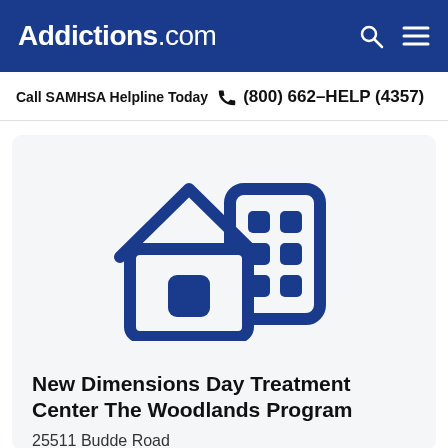Addictions.com
Call SAMHSA Helpline Today  (800) 662-HELP (4357)
[Figure (illustration): Icon of a residential house next to a multi-story building, both in dark blue outline style, representing a treatment facility.]
New Dimensions Day Treatment Center The Woodlands Program
25511 Budde Road